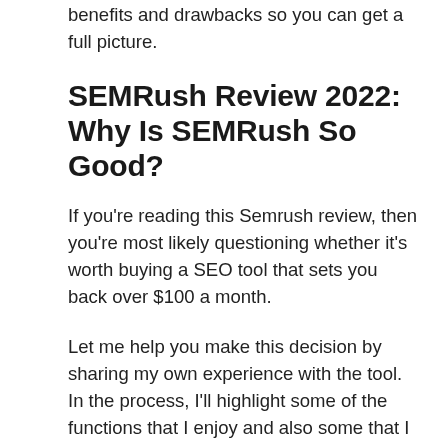benefits and drawbacks so you can get a full picture.
SEMRush Review 2022: Why Is SEMRush So Good?
If you're reading this Semrush review, then you're most likely questioning whether it's worth buying a SEO tool that sets you back over $100 a month.
Let me help you make this decision by sharing my own experience with the tool. In the process, I'll highlight some of the functions that I enjoy and also some that I feel could do with a couple of enhancements.